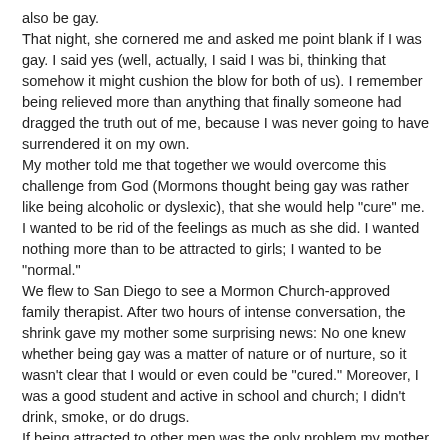also be gay.
That night, she cornered me and asked me point blank if I was gay. I said yes (well, actually, I said I was bi, thinking that somehow it might cushion the blow for both of us). I remember being relieved more than anything that finally someone had dragged the truth out of me, because I was never going to have surrendered it on my own.
My mother told me that together we would overcome this challenge from God (Mormons thought being gay was rather like being alcoholic or dyslexic), that she would help "cure" me.
I wanted to be rid of the feelings as much as she did. I wanted nothing more than to be attracted to girls; I wanted to be "normal."
We flew to San Diego to see a Mormon Church-approved family therapist. After two hours of intense conversation, the shrink gave my mother some surprising news: No one knew whether being gay was a matter of nature or of nurture, so it wasn't clear that I would or even could be "cured." Moreover, I was a good student and active in school and church; I didn't drink, smoke, or do drugs.
If being attracted to other men was the only problem my mother had to worry about, the therapist seemed to say, then she was a lucky mother indeed.
After seeing the therapist, the subject of my being gay became taboo, although beneath the superficial truce there was always the possibility of an eruption. My mother and I fought intensely about my new (gay) friends and even how I crossed my (gay) legs. "Yeah?" I would retort, "Well, I don't approve of your lifestyle either!"